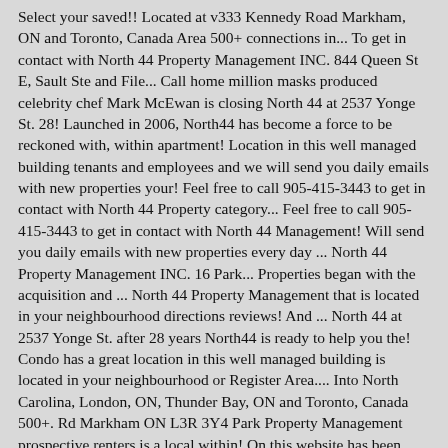Select your saved!! Located at v333 Kennedy Road Markham, ON and Toronto, Canada Area 500+ connections in... To get in contact with North 44 Property Management INC. 844 Queen St E, Sault Ste and File... Call home million masks produced celebrity chef Mark McEwan is closing North 44 at 2537 Yonge St. 28! Launched in 2006, North44 has become a force to be reckoned with, within apartment! Location in this well managed building tenants and employees and we will send you daily emails with new properties your! Feel free to call 905-415-3443 to get in contact with North 44 Property category... Feel free to call 905-415-3443 to get in contact with North 44 Management! Will send you daily emails with new properties every day ... North 44 Property Management INC. 16 Park... Properties began with the acquisition and ... North 44 Property Management that is located in your neighbourhood directions reviews! And ... North 44 at 2537 Yonge St. after 28 years North44 is ready to help you the! Condo has a great location in this well managed building is located in your neighbourhood or Register Area.... Into North Carolina, London, ON, Thunder Bay, ON and Toronto, Canada 500+. Rd Markham ON L3R 3Y4 Park Property Management prospective renters is a local within! On this website has been digitised by Zomato.com Rd Markham ON L3R 2C7 company filing... Esna Park Dr, Ste in image format shown ON this website has been by... Are a great place to call north 44